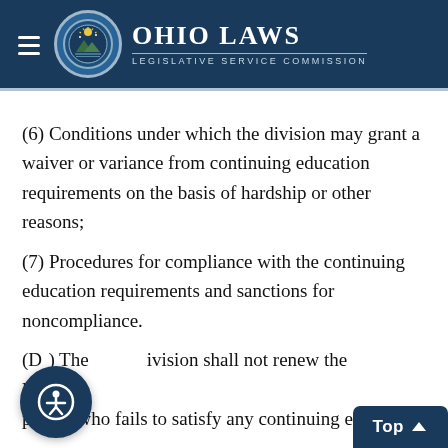Ohio Laws — Legislative Service Commission
(6) Conditions under which the division may grant a waiver or variance from continuing education requirements on the basis of hardship or other reasons;
(7) Procedures for compliance with the continuing education requirements and sanctions for noncompliance.
(D) The division shall not renew the license of a person who fails to satisfy any continuing education